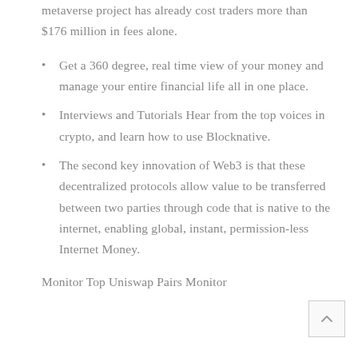metaverse project has already cost traders more than $176 million in fees alone.
Get a 360 degree, real time view of your money and manage your entire financial life all in one place.
Interviews and Tutorials Hear from the top voices in crypto, and learn how to use Blocknative.
The second key innovation of Web3 is that these decentralized protocols allow value to be transferred between two parties through code that is native to the internet, enabling global, instant, permission-less Internet Money.
Monitor Top Uniswap Pairs Monitor